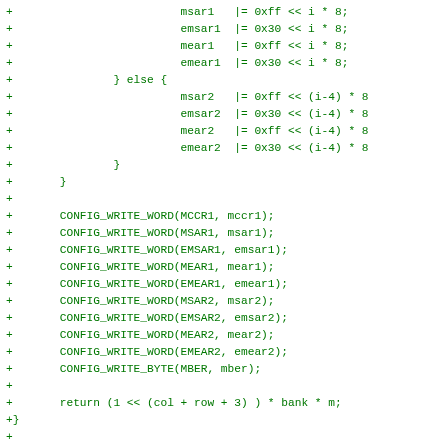[Figure (other): Source code diff (patch) in green monospace showing C code additions with + prefix, including variable assignments with bitwise operations and function calls like CONFIG_WRITE_WORD, CONFIG_WRITE_BYTE, return statement, and function definition initdram.]